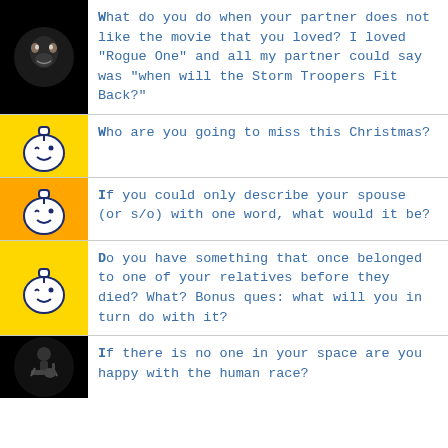What do you do when your partner does not like the movie that you loved? I loved "Rogue One" and all my partner could say was "when will the Storm Troopers Fit Back?"
Who are you going to miss this Christmas?
If you could only describe your spouse (or s/o) with one word, what would it be?
Do you have something that once belonged to one of your relatives before they died? What? Bonus ques: what will you in turn do with it?
If there is no one in your space are you happy with the human race?